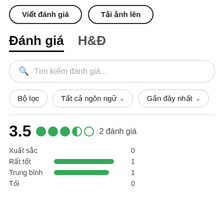[Figure (screenshot): Two rounded buttons at top: 'Viết đánh giá' and 'Tải ảnh lên']
Đánh giá   H&Đ
[Figure (screenshot): Search bar with placeholder 'Tìm kiếm đánh giá...']
[Figure (screenshot): Filter row with buttons: 'Bộ lọc', 'Tất cả ngôn ngữ ∨', 'Gần đây nhất ∨']
3.5  ●●●◐○  2 đánh giá
Xuất sắc   0
Rất tốt   [bar]   1
Trung bình   [bar]   1
Tối   0